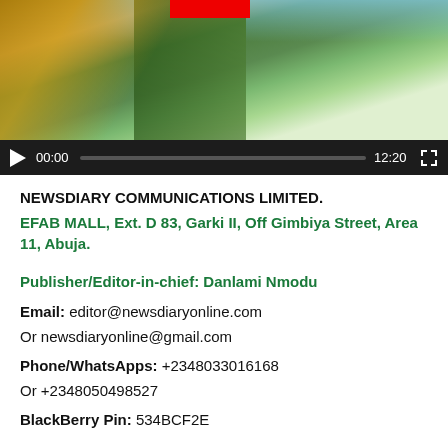[Figure (screenshot): Video player screenshot showing two people outdoors, with a video control bar showing play button, time 00:00, progress bar, duration 12:20, and fullscreen button. A red block is partially visible at the top center.]
NEWSDIARY COMMUNICATIONS LIMITED.
EFAB MALL, Ext. D 83, Garki II, Off Gimbiya Street, Area 11, Abuja.
Publisher/Editor-in-chief: Danlami Nmodu
Email: editor@newsdiaryonline.com
Or newsdiaryonline@gmail.com
Phone/WhatsApps: +2348033016168
Or +2348050498527
BlackBerry Pin: 534BCF2E